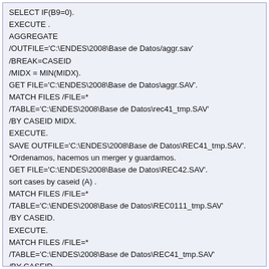SELECT IF(B9=0).
EXECUTE .
AGGREGATE
/OUTFILE='C:\ENDES\2008\Base de Datos/aggr.sav'
/BREAK=CASEID
/MIDX = MIN(MIDX).
GET FILE='C:\ENDES\2008\Base de Datos\aggr.SAV'.
MATCH FILES /FILE=*
/TABLE='C:\ENDES\2008\Base de Datos\rec41_tmp.SAV'
/BY CASEID MIDX.
EXECUTE.
SAVE OUTFILE='C:\ENDES\2008\Base de Datos\REC41_tmp.SAV'.
*Ordenamos, hacemos un merger y guardamos.
GET FILE='C:\ENDES\2008\Base de Datos\REC42.SAV'.
sort cases by caseid (A) .
MATCH FILES /FILE=*
/TABLE='C:\ENDES\2008\Base de Datos\REC0111_tmp.SAV'
/BY CASEID.
EXECUTE.
MATCH FILES /FILE=*
/TABLE='C:\ENDES\2008\Base de Datos\REC41_tmp.SAV'
/BY CASEID.